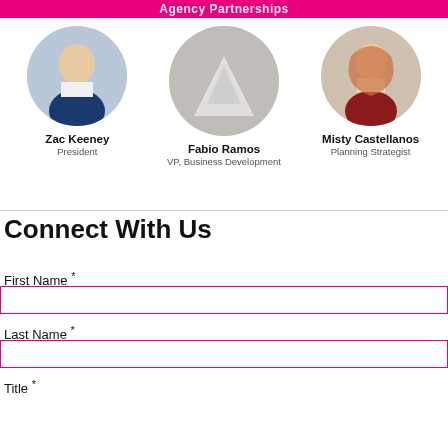Agency Partnerships
[Figure (photo): Three circular headshot photos of Zac Keeney (President), Fabio Ramos (VP, Business Development), and Misty Castellanos (Planning Strategist)]
Zac Keeney
President
Fabio Ramos
VP, Business Development
Misty Castellanos
Planning Strategist
Connect With Us
First Name *
Last Name *
Title *